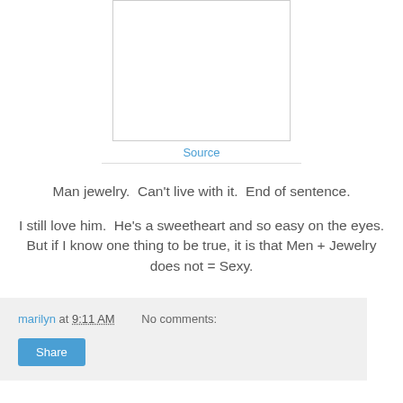[Figure (other): Image placeholder with border and Source link below]
Source
Man jewelry.  Can't live with it.  End of sentence.
I still love him.  He's a sweetheart and so easy on the eyes.  But if I know one thing to be true, it is that Men + Jewelry does not = Sexy.
marilyn at 9:11 AM    No comments:    Share